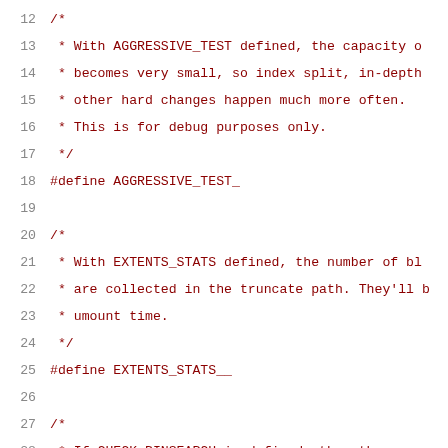12  /*
13   * With AGGRESSIVE_TEST defined, the capacity o
14   * becomes very small, so index split, in-depth
15   * other hard changes happen much more often.
16   * This is for debug purposes only.
17   */
18  #define AGGRESSIVE_TEST_
19
20  /*
21   * With EXTENTS_STATS defined, the number of bl
22   * are collected in the truncate path. They'll b
23   * umount time.
24   */
25  #define EXTENTS_STATS__
26
27  /*
28   * If CHECK_BINSEARCH is defined, then the resu
29   * will also be checked by linear search.
30   */
31  #define CHECK_BINSEARCH__
32